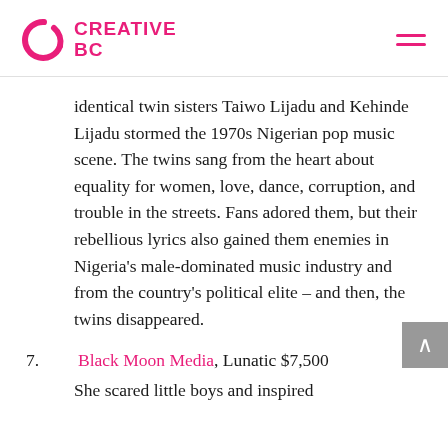CREATIVE BC
identical twin sisters Taiwo Lijadu and Kehinde Lijadu stormed the 1970s Nigerian pop music scene. The twins sang from the heart about equality for women, love, dance, corruption, and trouble in the streets. Fans adored them, but their rebellious lyrics also gained them enemies in Nigeria's male-dominated music industry and from the country's political elite – and then, the twins disappeared.
7.    Black Moon Media, Lunatic $7,500
She scared little boys and inspired